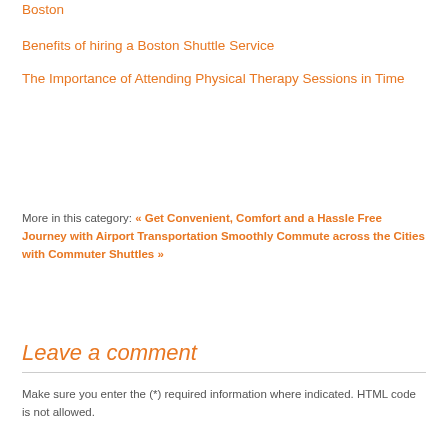Boston
Benefits of hiring a Boston Shuttle Service
The Importance of Attending Physical Therapy Sessions in Time
More in this category: « Get Convenient, Comfort and a Hassle Free Journey with Airport Transportation Smoothly Commute across the Cities with Commuter Shuttles »
Leave a comment
Make sure you enter the (*) required information where indicated. HTML code is not allowed.